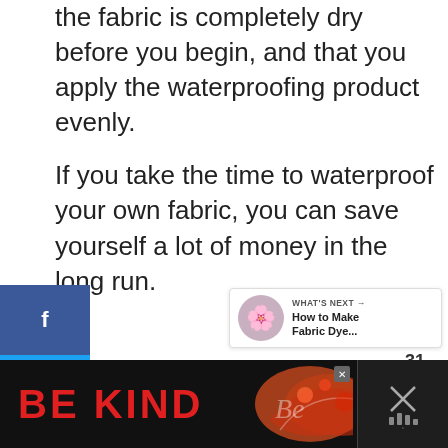the fabric is completely dry before you begin, and that you apply the waterproofing product evenly.
If you take the time to waterproof your own fabric, you can save yourself a lot of money in the long run.
[Figure (infographic): Social media sharing sidebar with Facebook (blue), Twitter (blue), and Pinterest (red) buttons on the left. Heart button (dark teal circle) with count 31 and share button on the right side.]
[Figure (infographic): What's Next widget showing a flower thumbnail, label 'WHAT'S NEXT →', and text 'How to Make Fabric Dye...']
[Figure (infographic): Advertisement banner with dark background showing 'BE KIND' text in red on left, decorative script/floral graphic in center, and a right panel with sound bars icon. Close button (x) visible.]